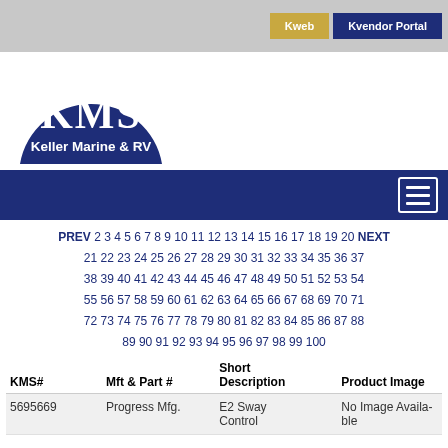[Figure (logo): KMS Keller Marine & RV logo — dark navy half-circle with white text KMS large and Keller Marine & RV below]
PREV 2 3 4 5 6 7 8 9 10 11 12 13 14 15 16 17 18 19 20 NEXT 21 22 23 24 25 26 27 28 29 30 31 32 33 34 35 36 37 38 39 40 41 42 43 44 45 46 47 48 49 50 51 52 53 54 55 56 57 58 59 60 61 62 63 64 65 66 67 68 69 70 71 72 73 74 75 76 77 78 79 80 81 82 83 84 85 86 87 88 89 90 91 92 93 94 95 96 97 98 99 100
| KMS# | Mft & Part # | Short Description | Product Image |
| --- | --- | --- | --- |
| 5695669 | Progress Mfg. | E2 Sway Control | No Image Available |